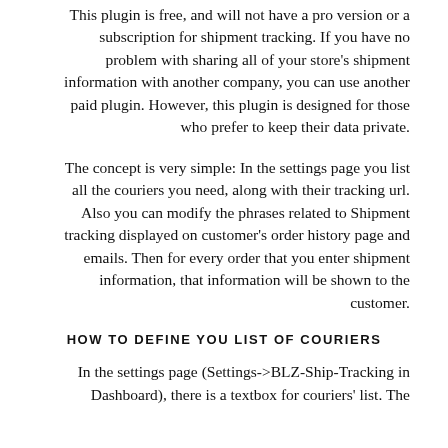This plugin is free, and will not have a pro version or a subscription for shipment tracking. If you have no problem with sharing all of your store's shipment information with another company, you can use another paid plugin. However, this plugin is designed for those who prefer to keep their data private.
The concept is very simple: In the settings page you list all the couriers you need, along with their tracking url. Also you can modify the phrases related to Shipment tracking displayed on customer's order history page and emails. Then for every order that you enter shipment information, that information will be shown to the customer.
HOW TO DEFINE YOU LIST OF COURIERS
In the settings page (Settings->BLZ-Ship-Tracking in Dashboard), there is a textbox for couriers' list. The